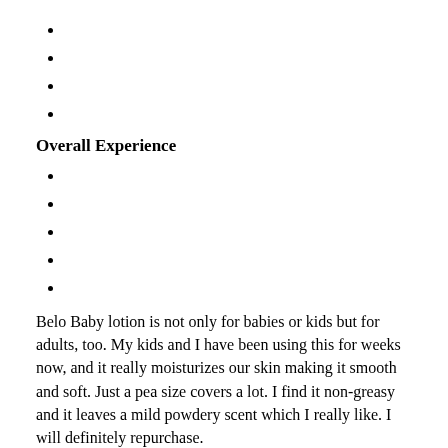Overall Experience
Belo Baby lotion is not only for babies or kids but for adults, too. My kids and I have been using this for weeks now, and it really moisturizes our skin making it smooth and soft. Just a pea size covers a lot. I find it non-greasy and it leaves a mild powdery scent which I really like. I will definitely repurchase.
Will you buy this product again?
Yes
No
Maybe